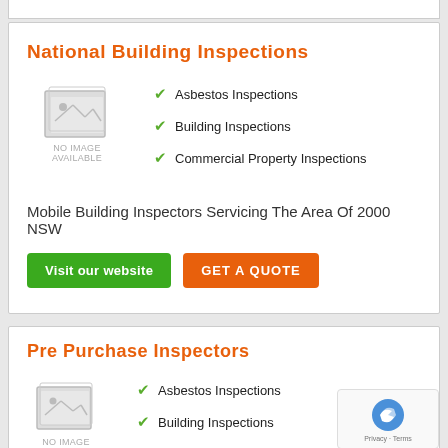National Building Inspections
[Figure (photo): No image available placeholder icon]
Asbestos Inspections
Building Inspections
Commercial Property Inspections
Mobile Building Inspectors Servicing The Area Of 2000 NSW
Visit our website   GET A QUOTE
Pre Purchase Inspectors
[Figure (photo): No image available placeholder icon]
Asbestos Inspections
Building Inspections
Commercial Property Inspections